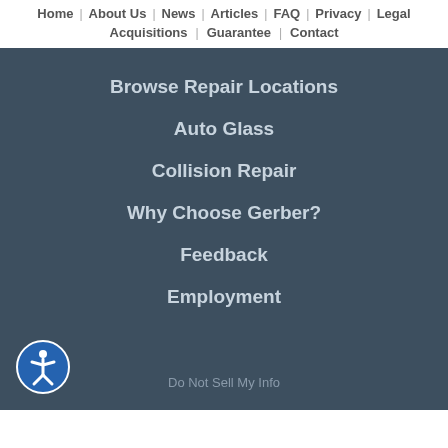Home | About Us | News | Articles | FAQ | Privacy | Legal | Acquisitions | Guarantee | Contact
Browse Repair Locations
Auto Glass
Collision Repair
Why Choose Gerber?
Feedback
Employment
[Figure (illustration): Accessibility icon button: circular blue button with a white human figure (universal accessibility symbol)]
Do Not Sell My Info